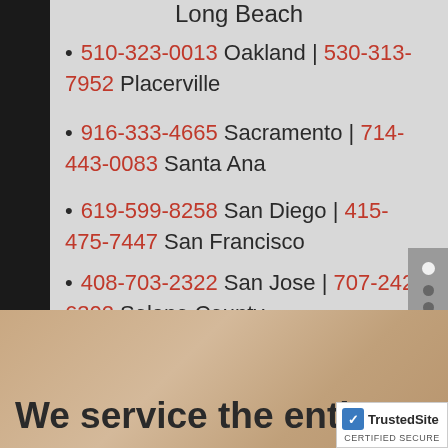Long Beach
510-323-0013 Oakland | 530-313-7952 Placerville
916-333-4665 Sacramento | 714-443-0083 Santa Ana
619-599-8258 San Diego | 415-475-7447 San Francisco
408-703-2322 San Jose | 707-242-6302 Solano County
We service the entir... state of Califo...